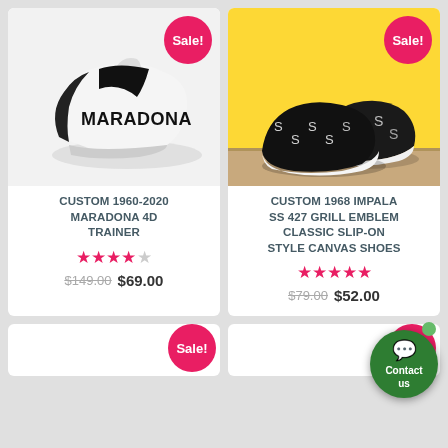[Figure (photo): White and black Maradona 4D trainer sneaker on white background with 'MARADONA' text on side]
Sale!
CUSTOM 1960-2020 MARADONA 4D TRAINER
★★★★☆ $149.00 $69.00
[Figure (photo): Black slip-on shoes with white snake/S pattern on yellow background]
Sale!
CUSTOM 1968 IMPALA SS 427 GRILL EMBLEM CLASSIC SLIP-ON STYLE CANVAS SHOES
★★★★★ $79.00 $52.00
Sale!
Sale!